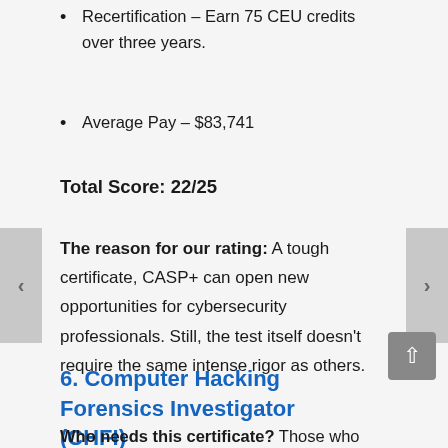Recertification – Earn 75 CEU credits over three years.
Average Pay – $83,741
Total Score: 22/25
The reason for our rating: A tough certificate, CASP+ can open new opportunities for cybersecurity professionals. Still, the test itself doesn't require the same intense rigor as others.
6. Computer Hacking Forensics Investigator (CHFI)
Who needs this certificate? Those who love the